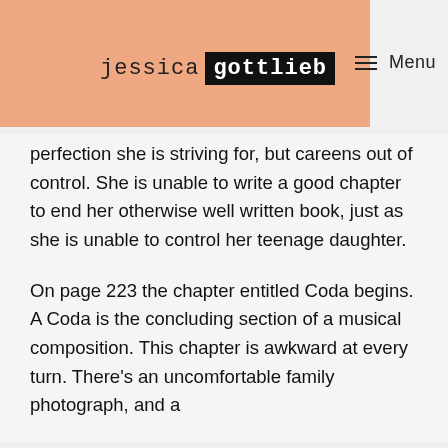jessica gottlieb  Menu
perfection she is striving for, but careens out of control. She is unable to write a good chapter to end her otherwise well written book, just as she is unable to control her teenage daughter.
On page 223 the chapter entitled Coda begins. A Coda is the concluding section of a musical composition. This chapter is awkward at every turn. There’s an uncomfortable family photograph, and a